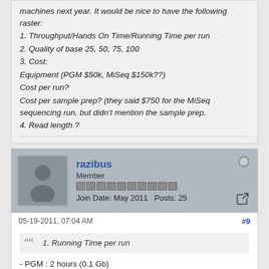machines next year. It would be nice to have the following raster:
1. Throughput/Hands On Time/Running Time per run
2. Quality of base 25, 50, 75, 100
3. Cost:
Equipment (PGM $50k, MiSeq $150k??)
Cost per run?
Cost per sample prep? (they said $750 for the MiSeq sequencing run, but didn't mention the sample prep.
4. Read length ?
razibus
Member
Join Date: May 2011   Posts: 25
05-19-2011, 07:04 AM
#9
1. Running Time per run
- PGM : 2 hours (0.1 Gb)
- MiSeq : 4 hours (1x35), 19 hours (2x100), 27 hours (2x150)